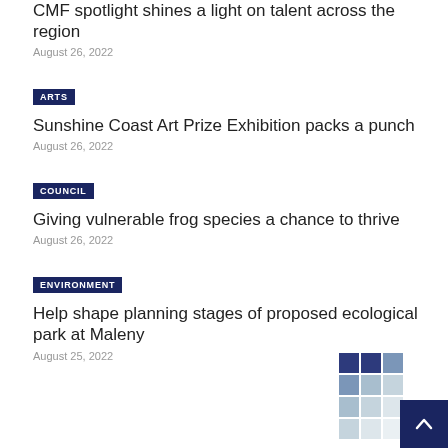CMF spotlight shines a light on talent across the region
August 26, 2022
ARTS
Sunshine Coast Art Prize Exhibition packs a punch
August 26, 2022
COUNCIL
Giving vulnerable frog species a chance to thrive
August 26, 2022
ENVIRONMENT
Help shape planning stages of proposed ecological park at Maleny
August 25, 2022
[Figure (logo): Grid logo composed of blue and light blue squares]